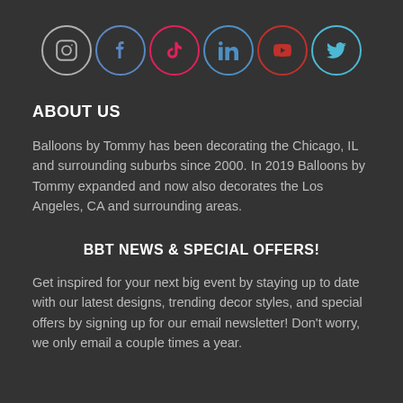[Figure (infographic): Six social media icon circles in a row: Instagram (gray border), Facebook (blue border), TikTok (pink/red border), LinkedIn (blue border), YouTube (red border), Twitter (teal border)]
ABOUT US
Balloons by Tommy has been decorating the Chicago, IL and surrounding suburbs since 2000. In 2019 Balloons by Tommy expanded and now also decorates the Los Angeles, CA and surrounding areas.
BBT NEWS & SPECIAL OFFERS!
Get inspired for your next big event by staying up to date with our latest designs, trending decor styles, and special offers by signing up for our email newsletter! Don't worry, we only email a couple times a year.